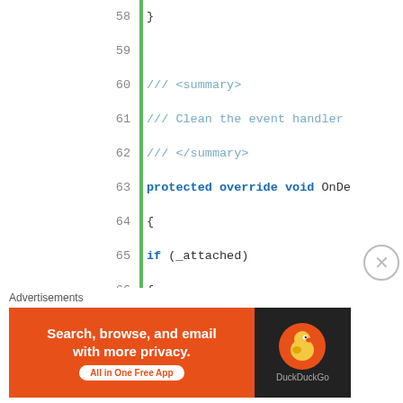[Figure (screenshot): Code editor screenshot showing C# code lines 57-79 with line numbers on the left and a green vertical bar. Code includes protected override void, if (_attached), Control.LongClic, Container.LongCl, _attached = false, and XML doc comments.]
Advertisements
[Figure (other): DuckDuckGo advertisement banner: orange left section with text 'Search, browse, and email with more privacy.' and 'All in One Free App' button, dark right section with DuckDuckGo logo and name.]